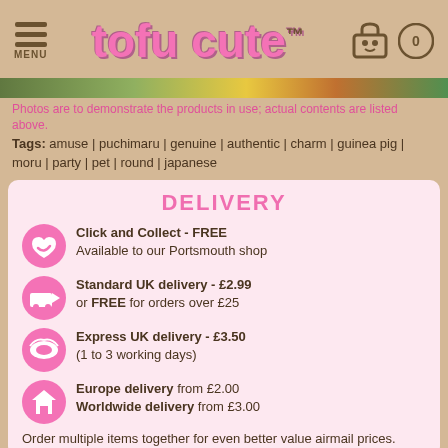tofu cute™ MENU [cart] 0
[Figure (photo): Partial product image strip at top]
Photos are to demonstrate the products in use; actual contents are listed above.
Tags: amuse | puchimaru | genuine | authentic | charm | guinea pig | moru | party | pet | round | japanese
DELIVERY
Click and Collect - FREE. Available to our Portsmouth shop
Standard UK delivery - £2.99 or FREE for orders over £25
Express UK delivery - £3.50 (1 to 3 working days)
Europe delivery from £2.00 Worldwide delivery from £3.00
Order multiple items together for even better value airmail prices.